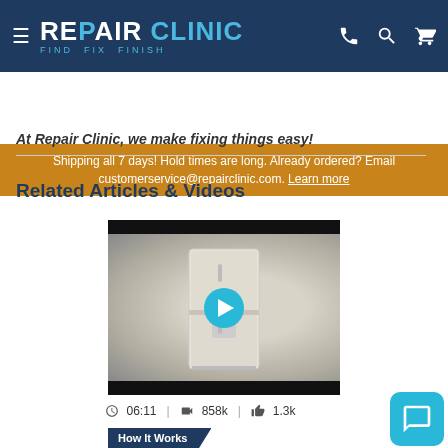REPAIR CLINIC — FIND. FIX. FINISH.
Shipping all 7 days! Hold times are long. Already ordered? Email customerservice@repairclinic.com. Learn more
At Repair Clinic, we make fixing things easy!
Related Articles & Videos
[Figure (screenshot): Video thumbnail showing a side-by-side refrigerator with a play button overlay. Duration 06:11, 858k views, 1.3k likes.]
06:11  |  858k  |  1.3k
How It Works